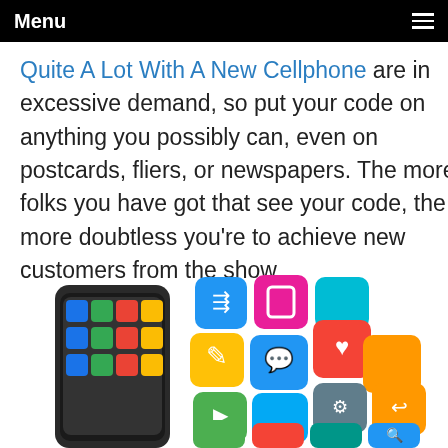Menu
Quite A Lot With A New Cellphone are in excessive demand, so put your code on anything you possibly can, even on postcards, fliers, or newspapers. The more folks you have got that see your code, the more doubtless you're to achieve new customers from the show.
[Figure (illustration): A smartphone with colorful app icons floating out of the screen — including share, edit, messaging, heart/favorites, music, tools, analytics, camera, and search icons in various bright colors (blue, yellow, green, red, orange, teal, magenta).]